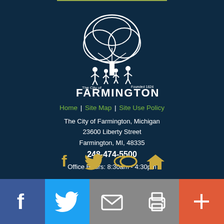[Figure (logo): City of Farmington, Michigan official logo with tree and human figures silhouettes, white on dark background, 'The City of Farmington Founded 1824' text]
Home | Site Map | Site Use Policy
The City of Farmington, Michigan
23600 Liberty Street
Farmington, MI, 48335
248-474-5500
Office Hours: 8:30am - 4:30pm
[Figure (infographic): Social media icons: Facebook, Twitter, link/share, and home icons in gold/yellow color]
[Figure (infographic): Bottom footer bar with Facebook (blue), Twitter (light blue), email (gray), print (gray), and plus/share (orange-red) icon buttons]